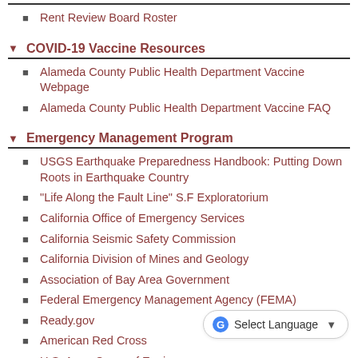Rent Review Board Roster
COVID-19 Vaccine Resources
Alameda County Public Health Department Vaccine Webpage
Alameda County Public Health Department Vaccine FAQ
Emergency Management Program
USGS Earthquake Preparedness Handbook: Putting Down Roots in Earthquake Country
"Life Along the Fault Line" S.F Exploratorium
California Office of Emergency Services
California Seismic Safety Commission
California Division of Mines and Geology
Association of Bay Area Government
Federal Emergency Management Agency (FEMA)
Ready.gov
American Red Cross
U.S. Army Corps of Engineers